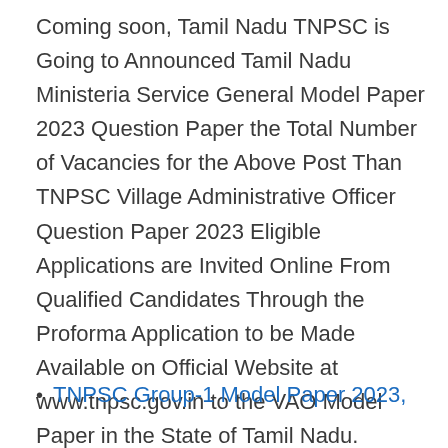Coming soon, Tamil Nadu TNPSC is Going to Announced Tamil Nadu Ministeria Service General Model Paper 2023 Question Paper the Total Number of Vacancies for the Above Post Than TNPSC Village Administrative Officer Question Paper 2023 Eligible Applications are Invited Online From Qualified Candidates Through the Proforma Application to be Made Available on Official Website at www.tnpsc.gov.in to the VAO Model Paper in the State of Tamil Nadu.
TNPSC Group-1 Model Paper 2023,